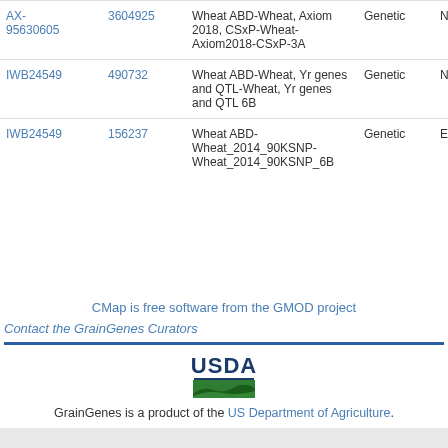| Marker | ID | Map | Type | Notes |
| --- | --- | --- | --- | --- |
| AX-95630605 | 3604925 | Wheat ABD-Wheat, Axiom 2018, CSxP-Wheat-Axiom2018-CSxP-3A | Genetic | None |
| IWB24549 | 490732 | Wheat ABD-Wheat, Yr genes and QTL-Wheat, Yr genes and QTL 6B | Genetic | None |
| IWB24549 | 156237 | Wheat ABD-Wheat_2014_90KSNP-Wheat_2014_90KSNP_6B | Genetic | Excal |
CMap is free software from the GMOD project
Contact the GrainGenes Curators
[Figure (logo): USDA logo with green landscape graphic]
GrainGenes is a product of the US Department of Agriculture.